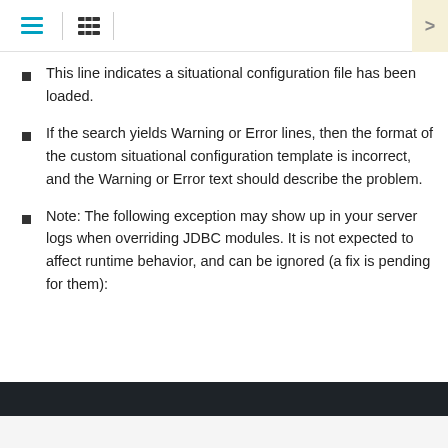[toolbar with hamburger menu, list icon, and navigation arrow]
This line indicates a situational configuration file has been loaded.
If the search yields Warning or Error lines, then the format of the custom situational configuration template is incorrect, and the Warning or Error text should describe the problem.
Note: The following exception may show up in your server logs when overriding JDBC modules. It is not expected to affect runtime behavior, and can be ignored (a fix is pending for them):
[Figure (screenshot): Dark code/terminal block at bottom of page]